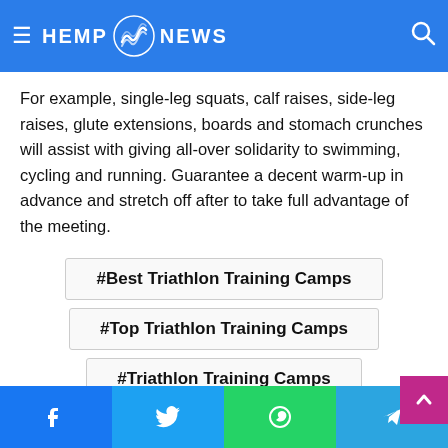Hemp News navigation bar
For example, single-leg squats, calf raises, side-leg raises, glute extensions, boards and stomach crunches will assist with giving all-over solidarity to swimming, cycling and running. Guarantee a decent warm-up in advance and stretch off after to take full advantage of the meeting.
#Best Triathlon Training Camps
#Top Triathlon Training Camps
#Triathlon Training Camps
Social share buttons: Facebook, Twitter, LinkedIn, Pinterest, YouTube, Reddit, Tumblr, and more